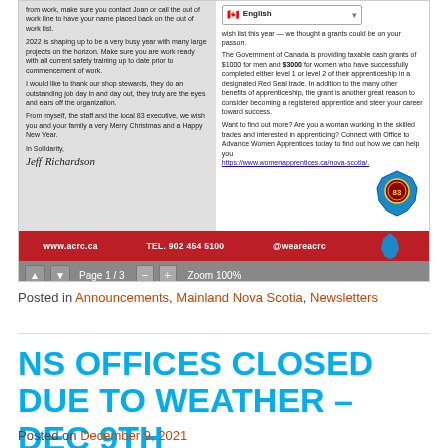[Figure (screenshot): PDF viewer screenshot showing two columns of newsletter content with a red footer bar showing www.acrc.ca, TEL. 902 454 5100, @weareacrc, and a navigation bar showing Page 1/3, Zoom 100%]
Posted in Announcements, Mainland Nova Scotia, Newsletters
NS OFFICES CLOSED DUE TO WEATHER – DEC 9th
Posted on December 9, 2021